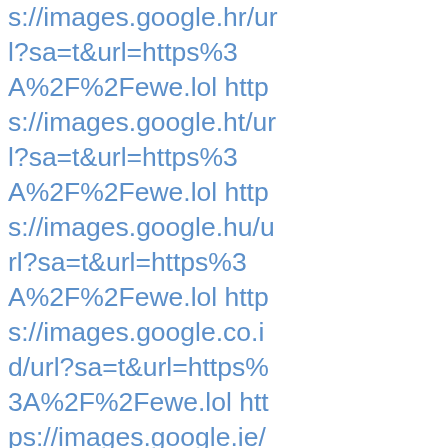s://images.google.hr/url?sa=t&url=https%3A%2F%2Fewe.lol https://images.google.ht/url?sa=t&url=https%3A%2F%2Fewe.lol https://images.google.hu/url?sa=t&url=https%3A%2F%2Fewe.lol https://images.google.co.id/url?sa=t&url=https%3A%2F%2Fewe.lol https://images.google.ie/url?sa=t&url=https%3A%2F%2Fewe.lol https://images.google.co.il/url?sa=t&url=https%3A%2F%2Fewe.lol https://images.google.im/url?sa=t&url=https%3A%2F%2Fewe.lol https://images.google.co.in/url?sa=t&url=https%3A%2F%2Fewe.lol https://images.google.io/url?sa=t&url=https%3A%